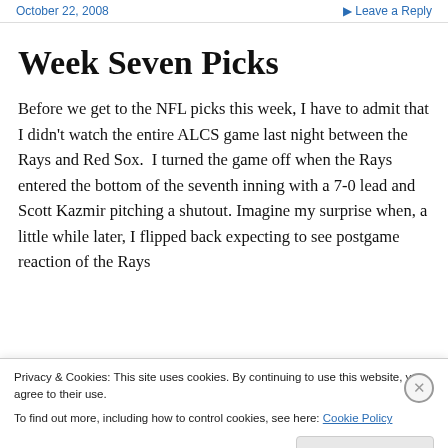October 22, 2008 · Leave a Reply
Week Seven Picks
Before we get to the NFL picks this week, I have to admit that I didn't watch the entire ALCS game last night between the Rays and Red Sox.  I turned the game off when the Rays entered the bottom of the seventh inning with a 7-0 lead and Scott Kazmir pitching a shutout. Imagine my surprise when, a little while later, I flipped back expecting to see postgame reaction of the Rays
Privacy & Cookies: This site uses cookies. By continuing to use this website, you agree to their use.
To find out more, including how to control cookies, see here: Cookie Policy